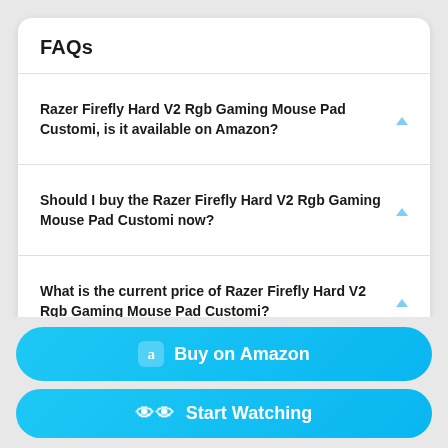FAQs
Razer Firefly Hard V2 Rgb Gaming Mouse Pad Customi, is it available on Amazon?
Should I buy the Razer Firefly Hard V2 Rgb Gaming Mouse Pad Customi now?
What is the current price of Razer Firefly Hard V2 Rgb Gaming Mouse Pad Customi?
What was the lowest price for the Razer Firefly Hard V2 Rgb Gaming Mouse Pad Customi?
Buy on Amazon
Start Watching